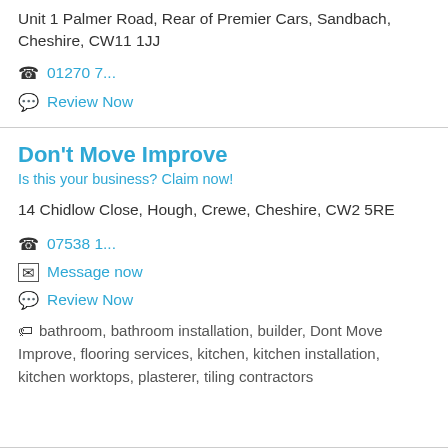Unit 1 Palmer Road, Rear of Premier Cars, Sandbach, Cheshire, CW11 1JJ
01270 7...
Review Now
Don't Move Improve
Is this your business? Claim now!
14 Chidlow Close, Hough, Crewe, Cheshire, CW2 5RE
07538 1...
Message now
Review Now
bathroom, bathroom installation, builder, Dont Move Improve, flooring services, kitchen, kitchen installation, kitchen worktops, plasterer, tiling contractors